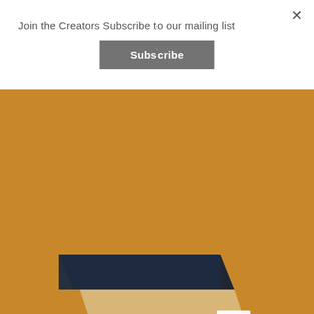Join the Creators Subscribe to our mailing list
Subscribe
×
[Figure (illustration): Product mockup showing a dark navy presentation or book overlapping a tan/cream folder or portfolio, with a small white card visible. Text overlay reads 'LASTLY WE BUILD' on a golden amber background.]